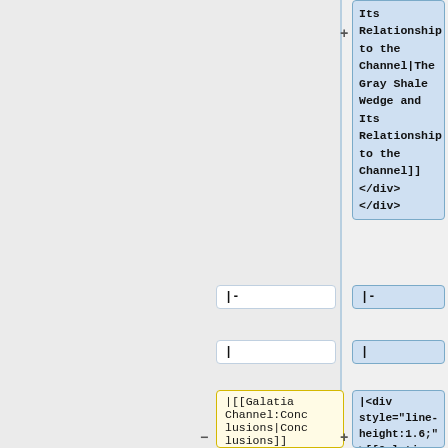Its Relationship to the Channel|The Gray Shale Wedge and Its Relationship to the Channel]]
</div></div>
|-
|-
|
|
|[[Galatia Channel:Conclusions|Conclusions]]
|<div style="line-height:1.6;">[[Galatia Channel:Conclusions|Conclusions]]